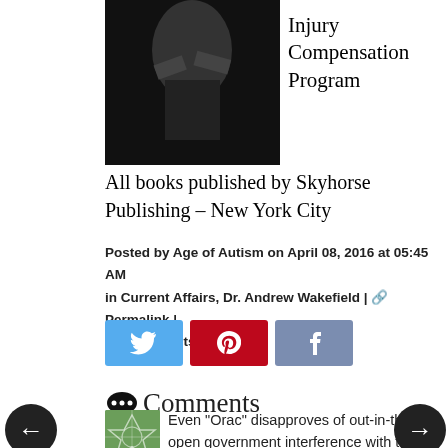[Figure (photo): Book cover image for Louis Conte, black and white photo with text 'LOUIS CONTE' in white letters on dark background]
Injury Compensation Program
All books published by Skyhorse Publishing – New York City
Posted by Age of Autism on April 08, 2016 at 05:45 AM in Current Affairs, Dr. Andrew Wakefield | 🔗 Permalink | 💬 Comments (25)
[Figure (infographic): Social share buttons: Twitter (blue), Pinterest (red), Facebook (purple-blue)]
💬 Comments
Even "Orac" disapproves of out-in-the-open government interference with the Houston film festival: "It makes me want